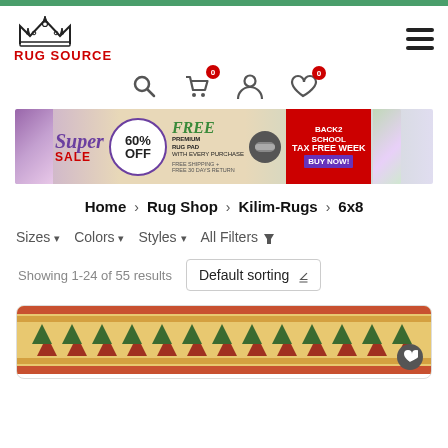[Figure (logo): Rug Source logo with crown icon and red text]
[Figure (infographic): Super Sale banner: 60% OFF, FREE Premium Rug Pad with every purchase, Free Shipping + Free 30 Days Return, Back2School Tax Free Week, Buy Now]
Home > Rug Shop > Kilim-Rugs > 6x8
Sizes ▾  Colors ▾  Styles ▾  All Filters ▼
Showing 1-24 of 55 results  Default sorting ▾
[Figure (photo): Kilim rug product photo showing geometric pattern]